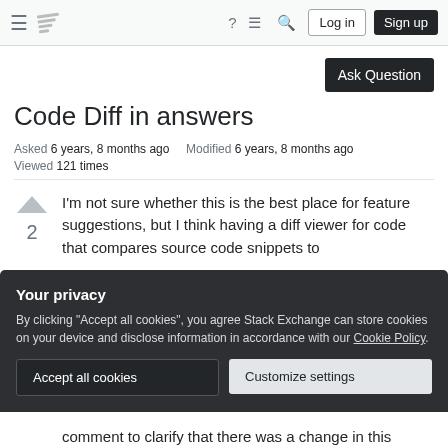Stack Exchange — Log in | Sign up
Code Diff in answers
Asked 6 years, 8 months ago   Modified 6 years, 8 months ago
Viewed 121 times
I'm not sure whether this is the best place for feature suggestions, but I think having a diff viewer for code that compares source code snippets to
Your privacy
By clicking "Accept all cookies", you agree Stack Exchange can store cookies on your device and disclose information in accordance with our Cookie Policy.
comment to clarify that there was a change in this